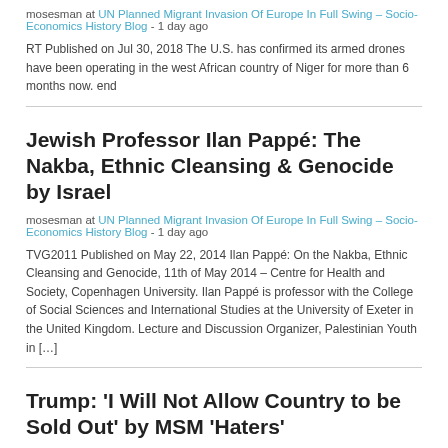mosesman at UN Planned Migrant Invasion Of Europe In Full Swing – Socio-Economics History Blog - 1 day ago
RT Published on Jul 30, 2018 The U.S. has confirmed its armed drones have been operating in the west African country of Niger for more than 6 months now. end
Jewish Professor Ilan Pappé: The Nakba, Ethnic Cleansing & Genocide by Israel
mosesman at UN Planned Migrant Invasion Of Europe In Full Swing – Socio-Economics History Blog - 1 day ago
TVG2011 Published on May 22, 2014 Ilan Pappé: On the Nakba, Ethnic Cleansing and Genocide, 11th of May 2014 – Centre for Health and Society, Copenhagen University. Ilan Pappé is professor with the College of Social Sciences and International Studies at the University of Exeter in the United Kingdom. Lecture and Discussion Organizer, Palestinian Youth in […]
Trump: 'I Will Not Allow Country to be Sold Out' by MSM 'Haters'
mosesman at UN Planned Migrant Invasion Of Europe In Full Swing